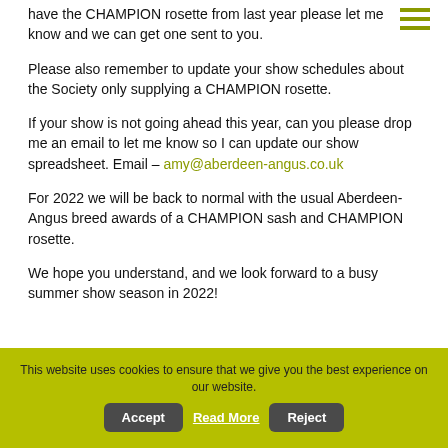have the CHAMPION rosette from last year please let me know and we can get one sent to you.
Please also remember to update your show schedules about the Society only supplying a CHAMPION rosette.
If your show is not going ahead this year, can you please drop me an email to let me know so I can update our show spreadsheet. Email – amy@aberdeen-angus.co.uk
For 2022 we will be back to normal with the usual Aberdeen-Angus breed awards of a CHAMPION sash and CHAMPION rosette.
We hope you understand, and we look forward to a busy summer show season in 2022!
This website uses cookies to ensure that we give you the best experience on our website.